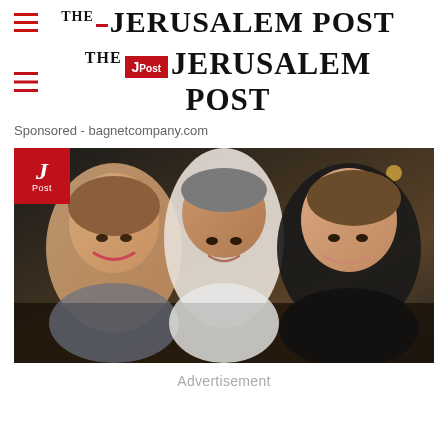THE JERUSALEM POST
Sponsored - bagnetcompany.com
[Figure (photo): A man in white shirt with two smiling young women at a nighttime outdoor event, with a JPost watermark in the upper left corner]
Advertisement